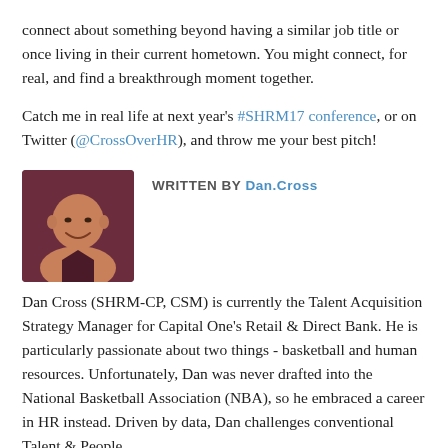connect about something beyond having a similar job title or once living in their current hometown. You might connect, for real, and find a breakthrough moment together.
Catch me in real life at next year's #SHRM17 conference, or on Twitter (@CrossOverHR), and throw me your best pitch!
WRITTEN BY Dan.Cross
[Figure (photo): Headshot photo of Dan Cross, a bald smiling man wearing a dark maroon shirt]
Dan Cross (SHRM-CP, CSM) is currently the Talent Acquisition Strategy Manager for Capital One's Retail & Direct Bank. He is particularly passionate about two things - basketball and human resources. Unfortunately, Dan was never drafted into the National Basketball Association (NBA), so he embraced a career in HR instead. Driven by data, Dan challenges conventional Talent & People